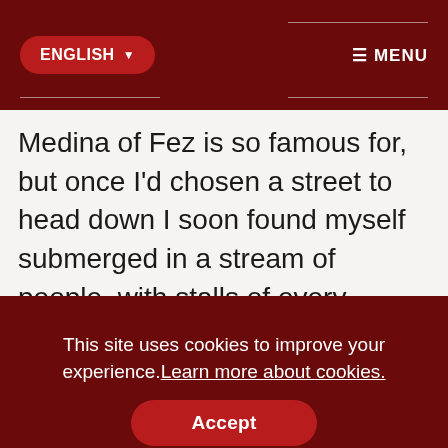ENGLISH ▼   ≡ MENU
Medina of Fez is so famous for, but once I'd chosen a street to head down I soon found myself submerged in a stream of people, with stalls of every description forming the banks. The noise in those narrow alleys was incredible – a hundred voices chattering at once in Arabic and French, the cries of chickens and other livestock for sale, the clatter of machinery, the hiss of
This site uses cookies to improve your experience. Learn more about cookies.
Accept